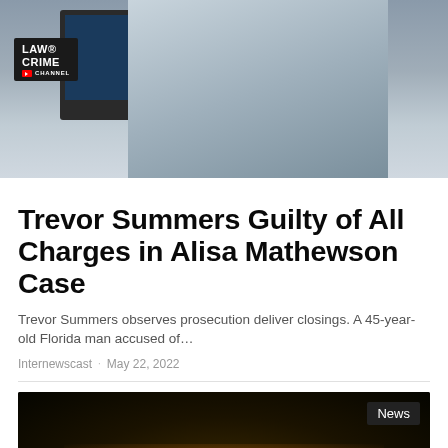[Figure (photo): A man in a blue striped shirt seated at a courtroom desk with a Dell computer monitor showing the Law & Crime Channel logo/badge in the lower left corner]
Trevor Summers Guilty of All Charges in Alisa Mathewson Case
Trevor Summers observes prosecution deliver closings. A 45-year-old Florida man accused of…
Internewscast · May 22, 2022
[Figure (photo): Dark science fiction scene showing a glowing spacecraft or vessel with golden/orange lights against a very dark background. A 'News' badge appears in the upper right corner.]